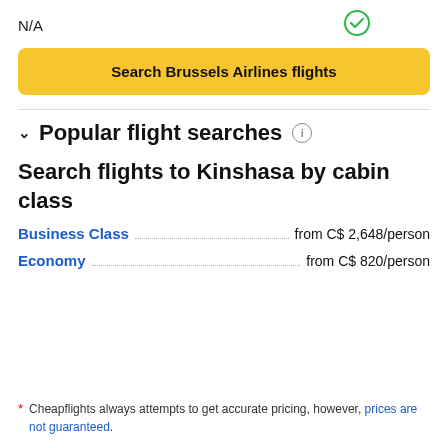N/A
[Figure (illustration): Green checkmark circle icon]
Search Brussels Airlines flights
Popular flight searches
Search flights to Kinshasa by cabin class
Business Class from C$ 2,648/person
Economy from C$ 820/person
Cheapflights always attempts to get accurate pricing, however, prices are not guaranteed.